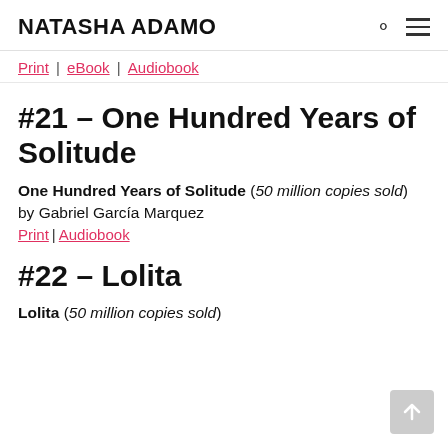NATASHA ADAMO
Print | eBook | Audiobook
#21 – One Hundred Years of Solitude
One Hundred Years of Solitude (50 million copies sold)
by Gabriel García Marquez
Print | Audiobook
#22 – Lolita
Lolita (50 million copies sold)